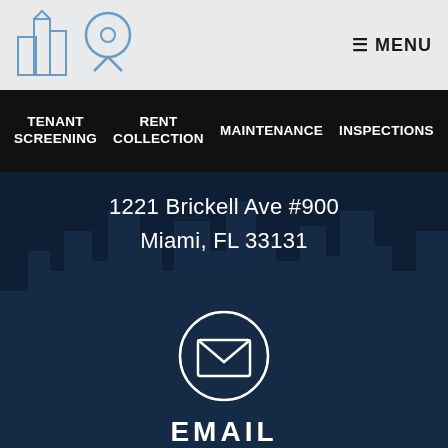☰ MENU
TENANT SCREENING
RENT COLLECTION
MAINTENANCE
INSPECTIONS
1221 Brickell Ave #900
Miami, FL 33131
[Figure (illustration): Email envelope icon inside a circle, white outline on dark navy background]
EMAIL
info@novelmanagement.com